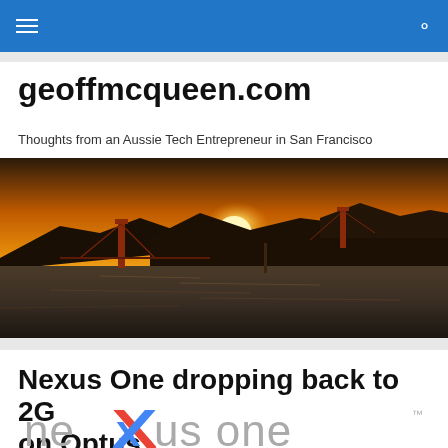geoffmcqueen.com navigation bar
geoffmcqueen.com
Thoughts from an Aussie Tech Entrepreneur in San Francisco
[Figure (photo): Golden Gate Bridge at sunset viewed from the water, with orange sky and silhouetted hills]
Nexus One dropping back to 2G on Optus
[Figure (logo): Nexus One logo in gray lowercase lettering with a colorful 'x' mark]